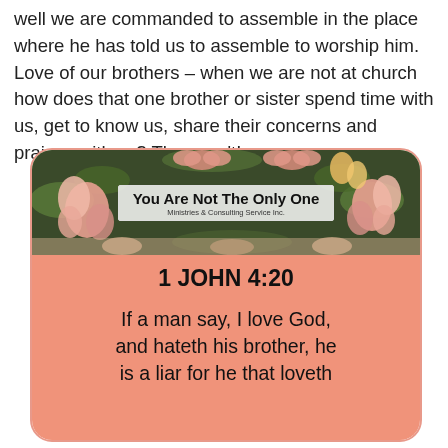well we are commanded to assemble in the place where he has told us to assemble to worship him. Love of our brothers – when we are not at church how does that one brother or sister spend time with us, get to know us, share their concerns and praises with us? They can't!
[Figure (illustration): A decorative card with a floral banner reading 'You Are Not The Only One – Ministries & Consulting Service Inc.' above a salmon/coral background panel showing the Bible verse reference '1 JOHN 4:20' in bold and the text 'If a man say, I love God, and hateth his brother, he is a liar for he that loveth' partially visible.]